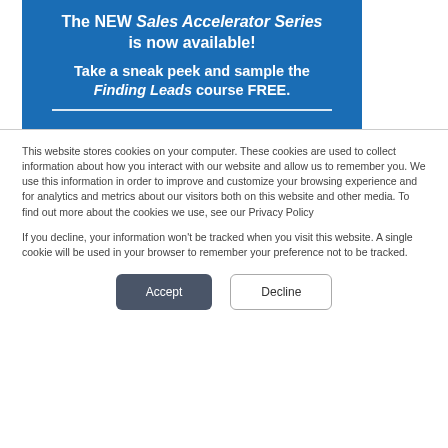The NEW Sales Accelerator Series is now available!

Take a sneak peek and sample the Finding Leads course FREE.
This website stores cookies on your computer. These cookies are used to collect information about how you interact with our website and allow us to remember you. We use this information in order to improve and customize your browsing experience and for analytics and metrics about our visitors both on this website and other media. To find out more about the cookies we use, see our Privacy Policy
If you decline, your information won't be tracked when you visit this website. A single cookie will be used in your browser to remember your preference not to be tracked.
Accept
Decline